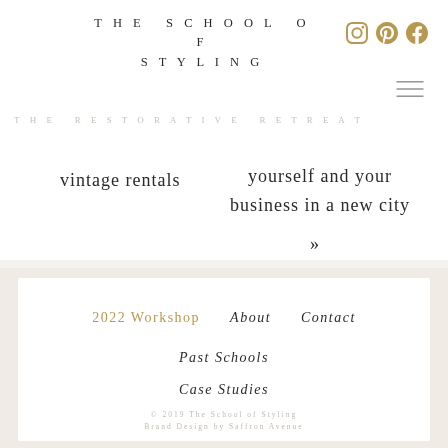THE SCHOOL OF STYLING
THE RESTORATIVE RETREAT
vintage rentals
yourself and your business in a new city
»
2022 Workshop
About
Contact
Past Schools
Case Studies
© 2019 The School of Styling
Brand Design by Saffron Avenue